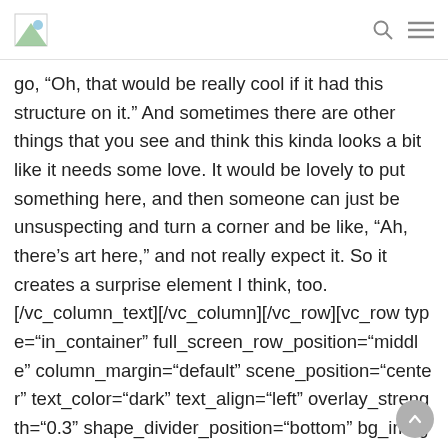[logo] [search icon] [menu icon]
go, “Oh, that would be really cool if it had this structure on it.” And sometimes there are other things that you see and think this kinda looks a bit like it needs some love. It would be lovely to put something here, and then someone can just be unsuspecting and turn a corner and be like, “Ah, there’s art here,” and not really expect it. So it creates a surprise element I think, too.
[/vc_column_text][/vc_column][/vc_row][vc_row type="in_container" full_screen_row_position="middle" column_margin="default" scene_position="center" text_color="dark" text_align="left" overlay_strength="0.3" shape_divider_position="bottom" bg_image_animation="none"][vc_column